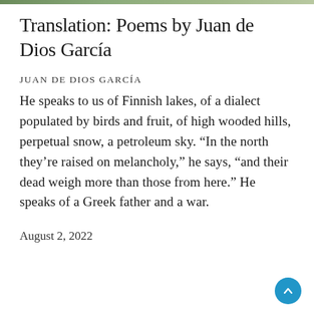Translation: Poems by Juan de Dios García
JUAN DE DIOS GARCÍA
He speaks to us of Finnish lakes, of a dialect populated by birds and fruit, of high wooded hills, perpetual snow, a petroleum sky. “In the north they’re raised on melancholy,” he says, “and their dead weigh more than those from here.” He speaks of a Greek father and a war.
August 2, 2022